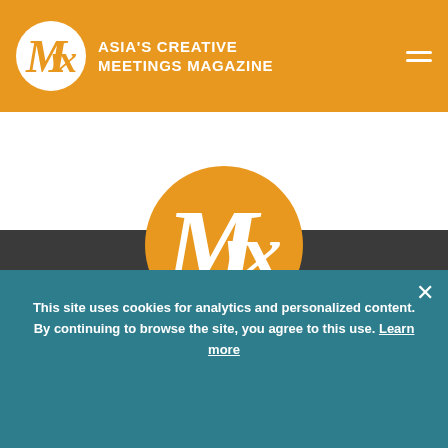ASIA'S CREATIVE MEETINGS MAGAZINE
[Figure (logo): Mix magazine large circular orange logo with stylized M!x text in white]
Mix is Asia's creative meetings magazine, published bi-monthly by Greater Bay Strategies Ltd.
[Figure (illustration): Social media icons: Twitter, Facebook, LinkedIn in white circles]
This site uses cookies for analytics and personalized content. By continuing to browse the site, you agree to this use. Learn more